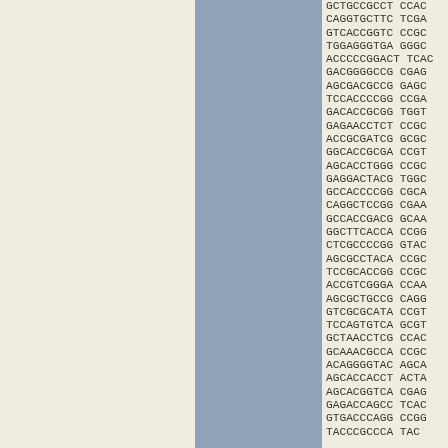GCTGCCGCCT CCAC
CAGGTGCTTC TCGA
GTCACCGGTC CCGC
TGGAGGGTGA GGGC
ACCCCGGACT TCAC
GACGGGGCCG CGAG
AGCGACGCCG GAGC
TCCACCCCGG CCGA
GACACCGCGG TGGT
GAGAACCTCT CCGC
ACCGCGATCG GCGC
GGCACCGCGA CCGT
AGCACCTGGG CCGC
GAGGACTACG TGGC
GCCACCCCGG CGCA
CAGGCTCCGG CGAA
GCCACCGACG GCAA
GGCTTCACCA CCGG
CTCGCCCCGG GTAC
AGCGCCTACA CCGC
TCCGCACCGG CCGC
ACCGTCGGGA CCAA
AGCGCTGCCG CAGG
GTCGCGCATA CCGT
TCCAGTGTCA GCGT
GCTAACCTCG CCAC
GCAAACGCCA CCGC
ACAGGGGTAC AGCA
AGCACCACCT ACTA
AGCACGGTCA CGAG
GAGACCAGCC TCAC
GTGACCCAGG CCGG
TACCCGCCCA TAC